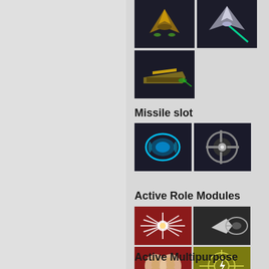[Figure (screenshot): Game UI screenshot showing spacecraft images at top, Missile slot section with two icons, Active Role Modules section with 6 colored module icons in a 2x3 grid, and beginning of Active Multipurpose Modules section]
Missile slot
Active Role Modules
Active Multipurpose Modules